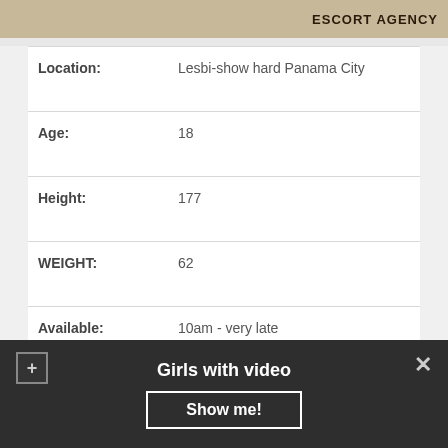[Figure (photo): Partial image strip at top showing escort agency banner]
| Field | Value |
| --- | --- |
| Location: | Lesbi-show hard Panama City |
| Age: | 18 |
| Height: | 177 |
| WEIGHT: | 62 |
| Available: | 10am - very late |
| Overnight: | +60$ |
| Escort Preferences: | Pole Dancing, Sub Games☺, Travel Companion |
| Outcall: | +40$ |
| 1hr: | 100$ |
Girls with video
Show me!